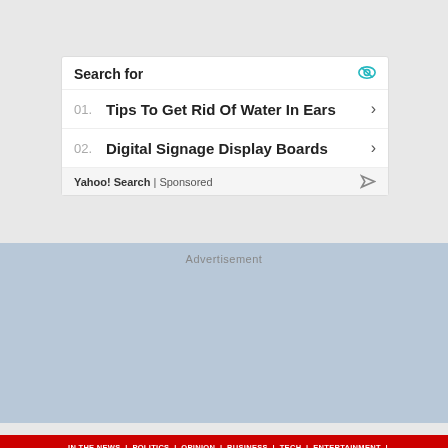Search for
01. Tips To Get Rid Of Water In Ears
02. Digital Signage Display Boards
Yahoo! Search | Sponsored
Advertisement
IN THE NEWS | POLITICS | OPINION | BUSINESS | TECH | ENTERTAINMENT | HEALTH | MEDIA | FOOD & DRINK | TRAVEL | SPORTS | WORLD | INVESTIGATIVE | VOICES | MULTIMEDIA | EVENT COVERAGE | SPONSORED CONTENT